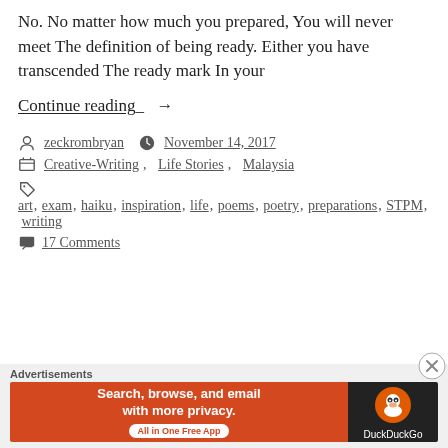No. No matter how much you prepared, You will never meet The definition of being ready. Either you have transcended The ready mark In your
Continue reading →
zeckrombryan   November 14, 2017
Creative-Writing, Life Stories, Malaysia
art, exam, haiku, inspiration, life, poems, poetry, preparations, STPM, writing
17 Comments
[Figure (screenshot): DuckDuckGo advertisement banner: Search, browse, and email with more privacy. All in One Free App.]